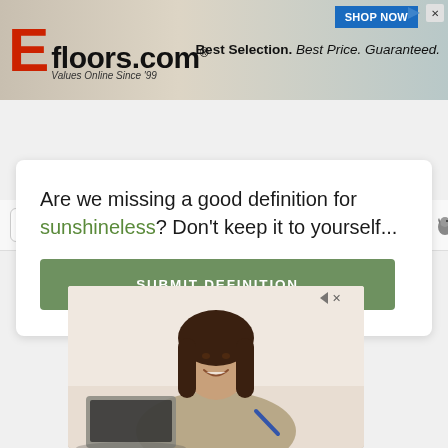[Figure (screenshot): Efloors.com advertisement banner with logo, tagline 'Values Online Since 99', slogan 'Best Selection. Best Price. Guaranteed.' and 'SHOP NOW' button]
[Figure (screenshot): Browser UI collapse button with up arrow caret, and 'Powered by CITE.ME' branding with bird icon]
Are we missing a good definition for sunshineless? Don't keep it to yourself...
SUBMIT DEFINITION
[Figure (photo): Young woman with long dark hair smiling, sitting in front of a laptop, holding a pen, in a home/office setting]